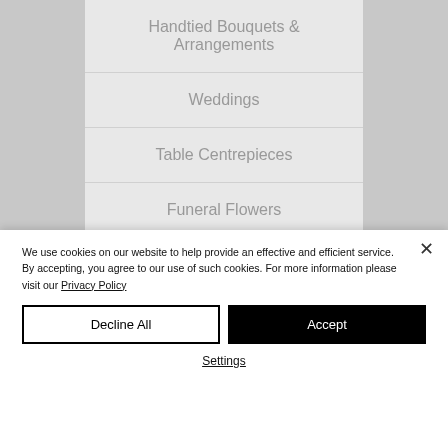Handtied Bouquets & Arrangements
Weddings
Table Centrepieces
Funeral Flowers
Balloons
We use cookies on our website to help provide an effective and efficient service. By accepting, you agree to our use of such cookies. For more information please visit our Privacy Policy
Decline All
Accept
Settings